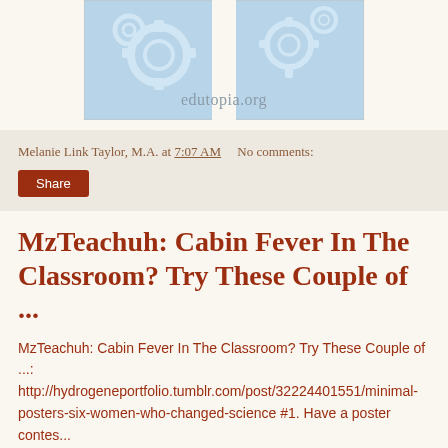[Figure (screenshot): Edutopia.org logo/banner image showing gears on a light blue background with the text 'edutopia.org']
Melanie Link Taylor, M.A. at 7:07 AM    No comments:
Share
MzTeachuh: Cabin Fever In The Classroom? Try These Couple of ...
MzTeachuh: Cabin Fever In The Classroom? Try These Couple of ...: http://hydrogeneportfolio.tumblr.com/post/32224401551/minimal-posters-six-women-who-changed-science #1. Have a poster contes...